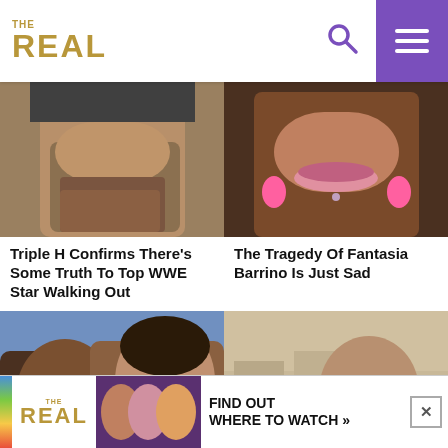THE REAL
[Figure (photo): Close-up of man with red beard and dark jacket]
[Figure (photo): Close-up of Black woman with pink earrings]
Triple H Confirms There's Some Truth To Top WWE Star Walking Out
The Tragedy Of Fantasia Barrino Is Just Sad
[Figure (photo): Michael B. Jordan and Lori Harvey couple photo]
[Figure (photo): Young couple smiling, man with beard and woman]
Steve [Harvey] What W[ent Wrong In] Memphis [...] [Repute]dly
[Figure (infographic): Advertisement banner for The Real TV show - Find Out Where To Watch]